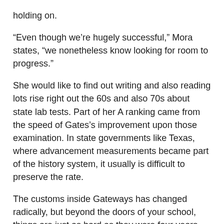holding on.
“Even though we’re hugely successful,” Mora states, “we nonetheless know looking for room to progress.”
She would like to find out writing and also reading lots rise right out the 60s and also 70s about state lab tests. Part of her A ranking came from the speed of Gates’s improvement upon those examination. In state governments like Texas, where advancement measurements became part of the history system, it usually is difficult to preserve the rate.
The customs inside Gateways has changed radically, but beyond the doors of your school, things are just as hard as they were four years ago. The neighborhood is simply not gentrifying for example other parts within the district. The housing investment is small , and cheaply built— it was certainly not intended to entice the middle category. The neighborhood has been, and certain will remain, any low-